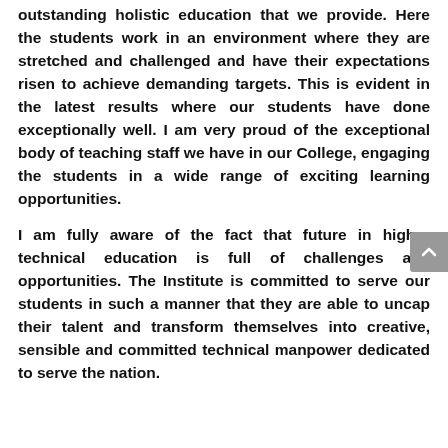outstanding holistic education that we provide. Here the students work in an environment where they are stretched and challenged and have their expectations risen to achieve demanding targets. This is evident in the latest results where our students have done exceptionally well. I am very proud of the exceptional body of teaching staff we have in our College, engaging the students in a wide range of exciting learning opportunities.
I am fully aware of the fact that future in higher technical education is full of challenges and opportunities. The Institute is committed to serve our students in such a manner that they are able to uncap their talent and transform themselves into creative, sensible and committed technical manpower dedicated to serve the nation.